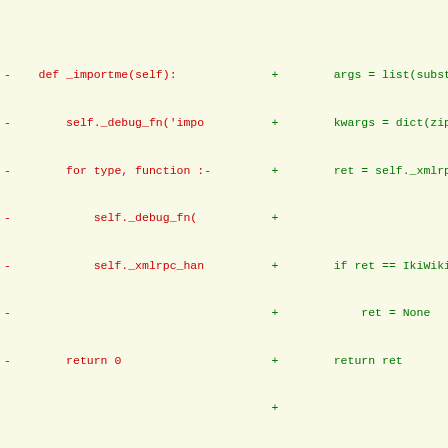[Figure (screenshot): A code diff view showing removed lines (red, left side) and added lines (green, right side) of Python source code. Left column shows deletions of _importme method. Right column shows additions including args, kwargs, ret assignments, hook method definition, if blocks, and hook_proxy function.]